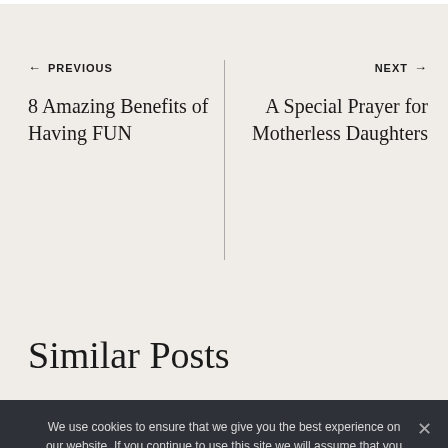← PREVIOUS
8 Amazing Benefits of Having FUN
NEXT →
A Special Prayer for Motherless Daughters
Similar Posts
We use cookies to ensure that we give you the best experience on our website. If you continue to use this site we will assume that you are happy with it.
Ok